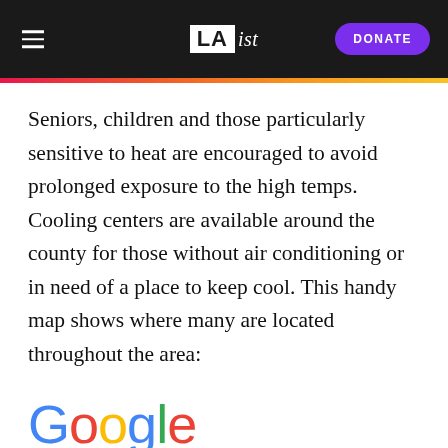LAist — DONATE
Seniors, children and those particularly sensitive to heat are encouraged to avoid prolonged exposure to the high temps. Cooling centers are available around the county for those without air conditioning or in need of a place to keep cool. This handy map shows where many are located throughout the area:
[Figure (screenshot): Google logo followed by a 404 error message partially visible at the bottom]
404  That's an error.